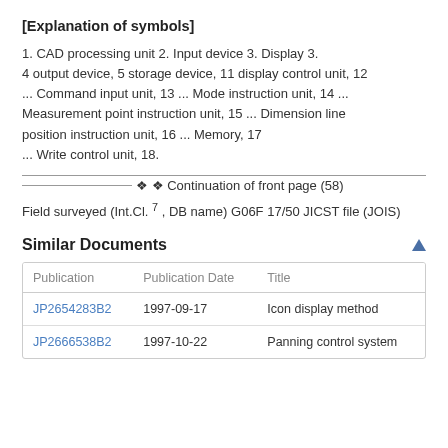[Explanation of symbols]
1. CAD processing unit 2. Input device 3. Display 3. 4 output device, 5 storage device, 11 display control unit, 12 ... Command input unit, 13 ... Mode instruction unit, 14 ... Measurement point instruction unit, 15 ... Dimension line position instruction unit, 16 ... Memory, 17 ... Write control unit, 18.
Continuation of front page (58)
Field surveyed (Int.Cl. 7 , DB name) G06F 17/50 JICST file (JOIS)
Similar Documents
| Publication | Publication Date | Title |
| --- | --- | --- |
| JP2654283B2 | 1997-09-17 | Icon display method |
| JP2666538B2 | 1997-10-22 | Panning control system |